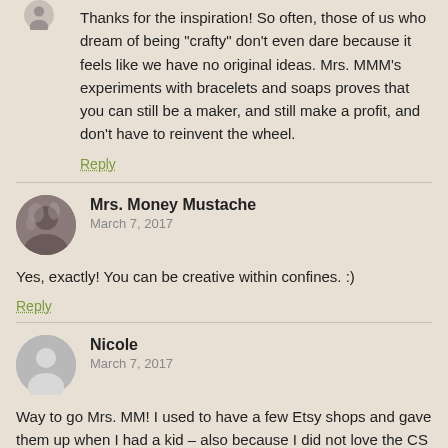Thanks for the inspiration! So often, those of us who dream of being “crafty” don’t even dare because it feels like we have no original ideas. Mrs. MMM’s experiments with bracelets and soaps proves that you can still be a maker, and still make a profit, and don’t have to reinvent the wheel.
Reply
Mrs. Money Mustache
March 7, 2017
Yes, exactly! You can be creative within confines. :)
Reply
Nicole
March 7, 2017
Way to go Mrs. MM! I used to have a few Etsy shops and gave them up when I had a kid – also because I did not love the CS side of things, which were somehow worse shipping from outside the US. Anyway! I recently started to make my own soap and love it, such a neat thing to be able to totally customize and then enjoy. Your soap looks fantastic!